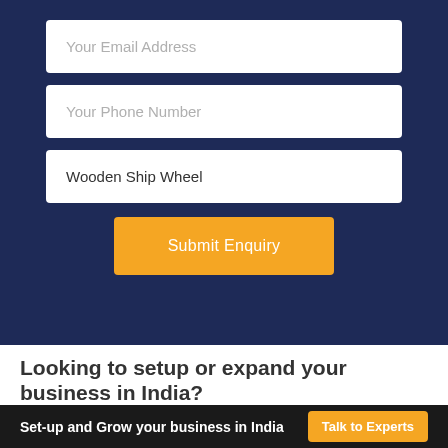Your Email Address
Your Phone Number
Wooden Ship Wheel
Submit Enquiry
Looking to setup or expand your business in India?
Set-up and Grow your business in India
Talk to Experts